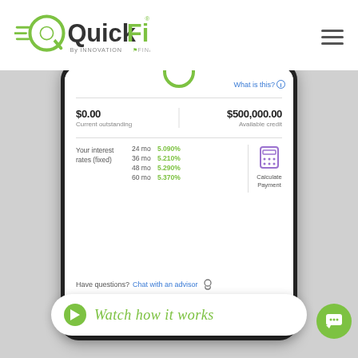[Figure (logo): QuickFi by Innovation Finance logo — green Q icon with speed lines, 'QuickFi' in dark/green text, 'By INNOVATION FINANCE' subtitle]
[Figure (screenshot): Mobile app screenshot showing QuickFi credit dashboard: $0.00 Current outstanding, $500,000.00 Available credit, interest rates for 24mo (5.090%), 36mo (5.210%), 48mo (5.290%), 60mo (5.370%), Calculate Payment button, 'Have questions? Chat with an advisor' link, and 'Watch how it works' bar at bottom]